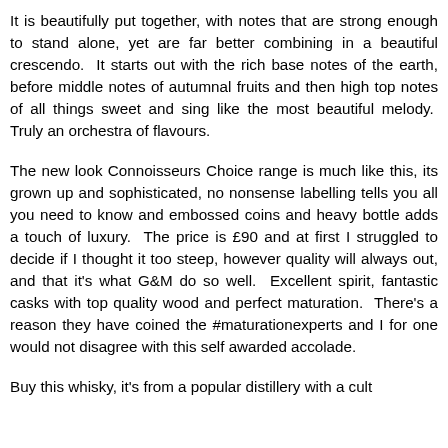It is beautifully put together, with notes that are strong enough to stand alone, yet are far better combining in a beautiful crescendo.  It starts out with the rich base notes of the earth, before middle notes of autumnal fruits and then high top notes of all things sweet and sing like the most beautiful melody.  Truly an orchestra of flavours.
The new look Connoisseurs Choice range is much like this, its grown up and sophisticated, no nonsense labelling tells you all you need to know and embossed coins and heavy bottle adds a touch of luxury.  The price is £90 and at first I struggled to decide if I thought it too steep, however quality will always out, and that it's what G&M do so well.  Excellent spirit, fantastic casks with top quality wood and perfect maturation.  There's a reason they have coined the #maturationexperts and I for one would not disagree with this self awarded accolade.
Buy this whisky, it's from a popular distillery with a cult following, that produce whisky in an...